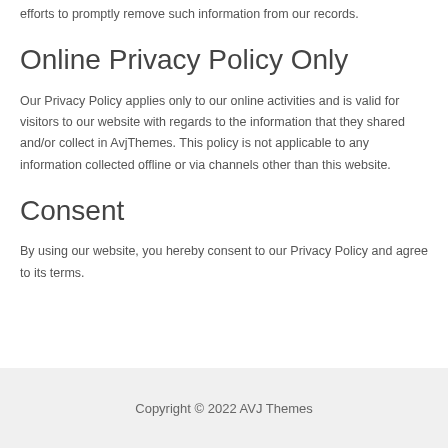efforts to promptly remove such information from our records.
Online Privacy Policy Only
Our Privacy Policy applies only to our online activities and is valid for visitors to our website with regards to the information that they shared and/or collect in AvjThemes. This policy is not applicable to any information collected offline or via channels other than this website.
Consent
By using our website, you hereby consent to our Privacy Policy and agree to its terms.
Copyright © 2022 AVJ Themes